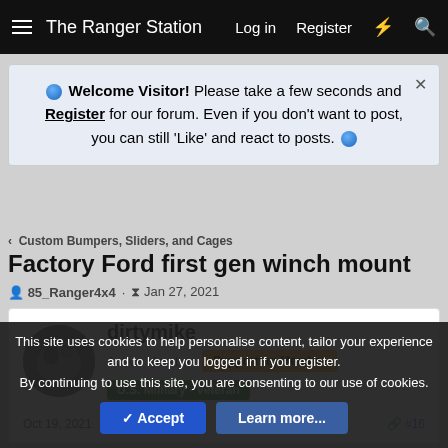The Ranger Station   Log in   Register
Welcome Visitor! Please take a few seconds and Register for our forum. Even if you don't want to post, you can still 'Like' and react to posts.
< Custom Bumpers, Sliders, and Cages
Factory Ford first gen winch mount
85_Ranger4x4 · Jan 27, 2021
dirtymike
Active Member   Supporting Member   U.S. Military - Veteran
Oct 19, 2021   #16
This site uses cookies to help personalise content, tailor your experience and to keep you logged in if you register.
By continuing to use this site, you are consenting to our use of cookies.